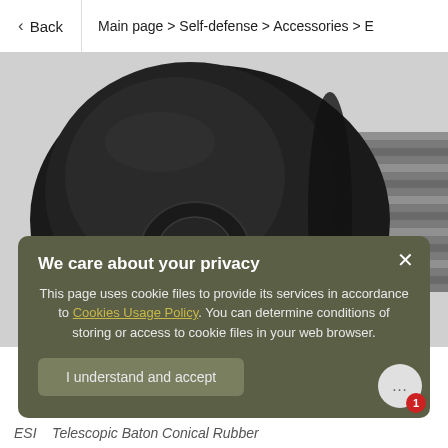< Back | Main page > Self-defense > Accessories > E
[Figure (photo): Close-up photo of a black rubber conical tip of a telescopic baton, with a metallic threaded section visible on the right side. The rubber end cap shows a circular knob detail. Background is light gray.]
We care about your privacy
This page uses cookie files to provide its services in accordance to Cookies Usage Policy. You can determine conditions of storing or access to cookie files in your web browser.
I understand and accept
ESI   Telescopic Baton Conical Rubber